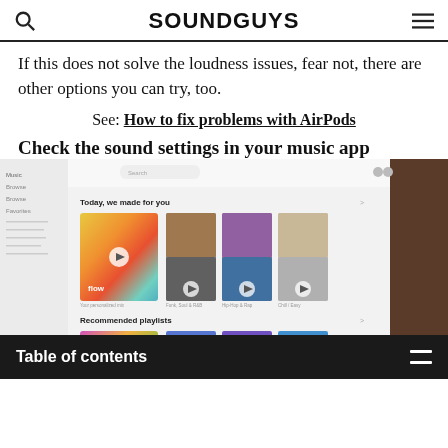SOUNDGUYS
If this does not solve the loudness issues, fear not, there are other options you can try, too.
See: How to fix problems with AirPods
Check the sound settings in your music app
[Figure (screenshot): Screenshot of the Deezer/Spotify music streaming app showing 'Today we made for you' section with Flow playlist and recommended playlists including 'ban hits', 'rap bangers', and 'gold rap'.]
Table of contents